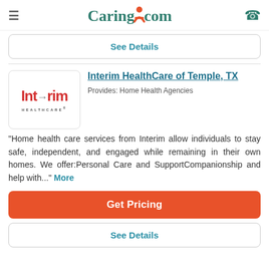Caring.com
See Details
[Figure (logo): Interim HealthCare logo with red stylized text and arrow, subtitle HEALTHCARE]
Interim HealthCare of Temple, TX
Provides: Home Health Agencies
"Home health care services from Interim allow individuals to stay safe, independent, and engaged while remaining in their own homes. We offer:Personal Care and SupportCompanionship and help with..." More
Get Pricing
See Details